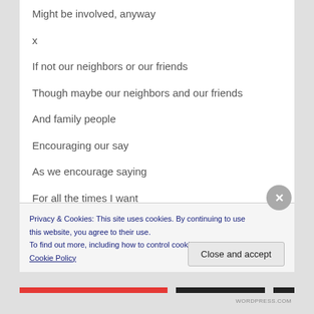Might be involved, anyway
x
If not our neighbors or our friends
Though maybe our neighbors and our friends
And family people
Encouraging our say
As we encourage saying
For all the times I want
To shut up, and that is right
Privacy & Cookies: This site uses cookies. By continuing to use this website, you agree to their use.
To find out more, including how to control cookies, see here: Cookie Policy